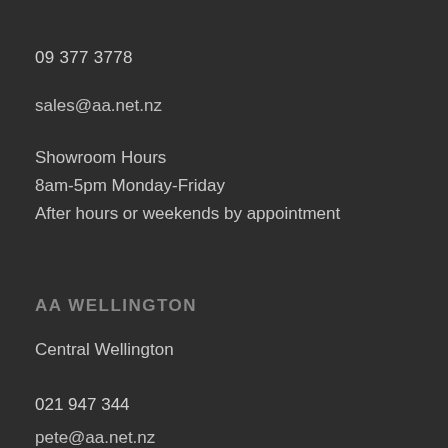09 377 3778
sales@aa.net.nz
Showroom Hours
8am-5pm Monday-Friday
After hours or weekends by appointment
AA WELLINGTON
Central Wellington
021 947 344
pete@aa.net.nz